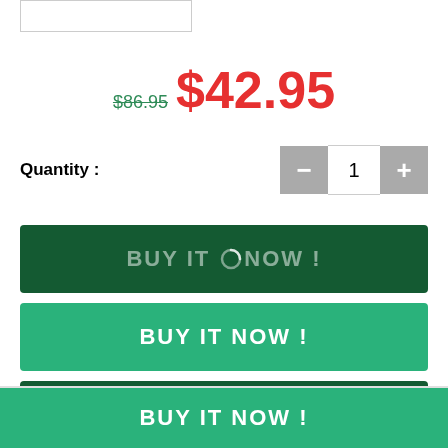[Figure (screenshot): Top product image placeholder box outline]
$86.95 $42.95
Quantity : 1
[Figure (screenshot): BUY IT NOW! button with loading spinner, dark green]
[Figure (screenshot): BUY IT NOW! button, bright green]
[Figure (screenshot): PERSONALIZE button with loading spinner, dark green]
[Figure (screenshot): BUY IT NOW! bottom sticky button, bright green]